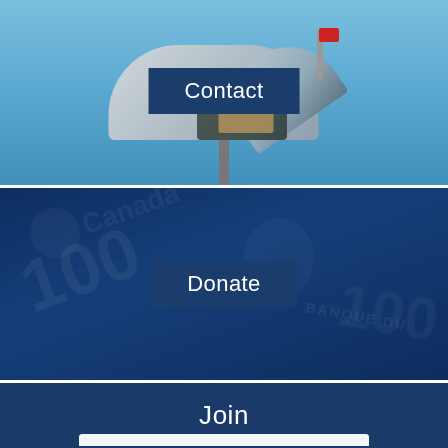[Figure (photo): Photo of an open metal mailbox against a blue sky, with a dark blue 'Contact' label overlaid in the center]
[Figure (photo): Photo of Canadian $100 bills with a blue tint overlay, with a dark blue 'Donate' label overlaid in the center]
Join